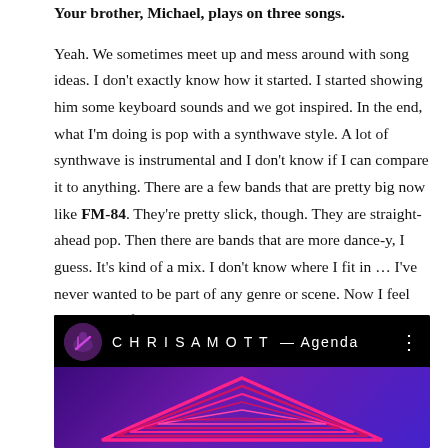Your brother, Michael, plays on three songs.
Yeah. We sometimes meet up and mess around with song ideas. I don't exactly know how it started. I started showing him some keyboard sounds and we got inspired. In the end, what I'm doing is pop with a synthwave style. A lot of synthwave is instrumental and I don't know if I can compare it to anything. There are a few bands that are pretty big now like FM-84. They're pretty slick, though. They are straight-ahead pop. Then there are bands that are more dance-y, I guess. It's kind of a mix. I don't know where I fit in … I've never wanted to be part of any genre or scene. Now I feel like it's helpful and I really wanted to market it. I made sure the cover had neon and pink on it. I wanted [the cover] to be [a] really clear [representation] about what this is supposed to mean [musically].
[Figure (screenshot): YouTube embed showing CHRISAMOTT – Agenda video with black background, circular avatar, channel name in spaced letters, and thumbnail with neon pink inverted triangles on purple background]